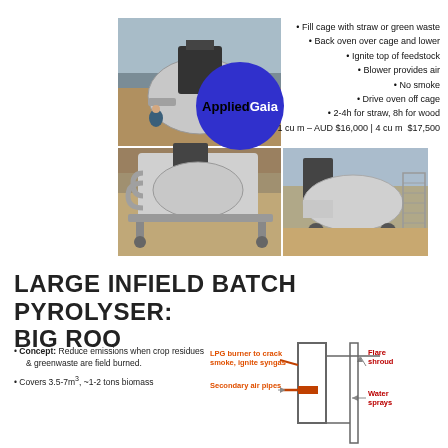[Figure (photo): Top-left photo of large stainless steel pyrolyser unit on field with person nearby]
[Figure (logo): Applied Gaia logo: blue circle with 'Applied' in black and 'Gaia' in white text]
Fill cage with straw or green waste
Back oven over cage and lower
Ignite top of feedstock
Blower provides air
No smoke
Drive oven off cage
2-4h for straw, 8h for wood
1 cu m – AUD $16,000 | 4 cu m  $17,500
[Figure (photo): Bottom-left photo of pyrolyser unit close-up with pipes]
[Figure (photo): Bottom-right photo of Big Roo pyrolyser unit in field with cage visible]
LARGE INFIELD BATCH PYROLYSER: BIG ROO
Concept: Reduce emissions when crop residues & greenwaste are field burned.
Covers 3.5-7m³, ~1-2 tons biomass
[Figure (schematic): Schematic diagram of Big Roo pyrolyser showing LPG burner, secondary air pipes, flare shroud, and water sprays with orange arrows]